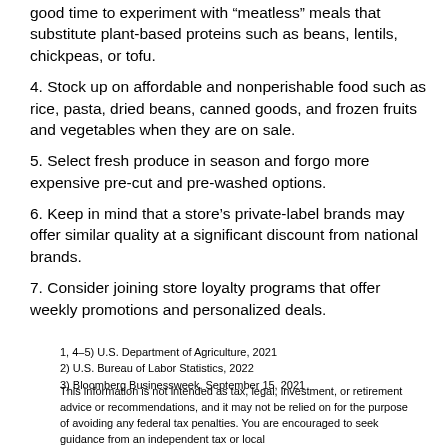good time to experiment with “meatless” meals that substitute plant-based proteins such as beans, lentils, chickpeas, or tofu.
4. Stock up on affordable and nonperishable food such as rice, pasta, dried beans, canned goods, and frozen fruits and vegetables when they are on sale.
5. Select fresh produce in season and forgo more expensive pre-cut and pre-washed options.
6. Keep in mind that a store’s private-label brands may offer similar quality at a significant discount from national brands.
7. Consider joining store loyalty programs that offer weekly promotions and personalized deals.
1, 4–5) U.S. Department of Agriculture, 2021
2) U.S. Bureau of Labor Statistics, 2022
3) Bloomberg Businessweek, September 15, 2021
This information is not intended as tax, legal, investment, or retirement advice or recommendations, and it may not be relied on for the purpose of avoiding any federal tax penalties. You are encouraged to seek guidance from an independent tax or local